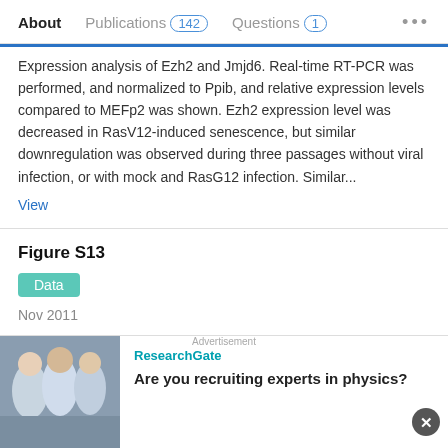About   Publications 142   Questions 1   ...
Expression analysis of Ezh2 and Jmjd6. Real-time RT-PCR was performed, and normalized to Ppib, and relative expression levels compared to MEFp2 was shown. Ezh2 expression level was decreased in RasV12-induced senescence, but similar downregulation was observed during three passages without viral infection, or with mock and RasG12 infection. Similar...
View
Figure S13
Data
Nov 2011
Atsushi Kaneda · Takanori Fujita · Motonobu Anai · [...] · Hiroyuki Aburatani
The motifs within Smad1 binding regions by DME. To confirm the SATEM motifs (Figure S9), the motifs were searched for...
Advertisement
ResearchGate
Are you recruiting experts in physics?